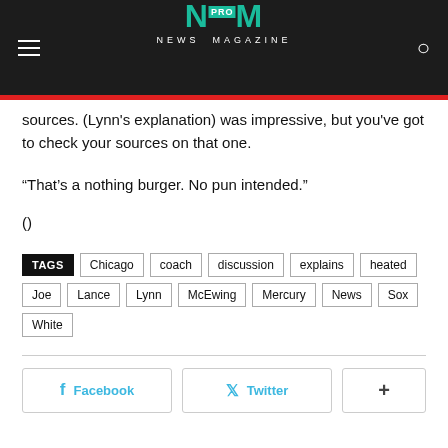NEWS MAGAZINE
sources. (Lynn's explanation) was impressive, but you've got to check your sources on that one.
“That’s a nothing burger. No pun intended.”
()
TAGS Chicago coach discussion explains heated Joe Lance Lynn McEwing Mercury News Sox White
Facebook Twitter +